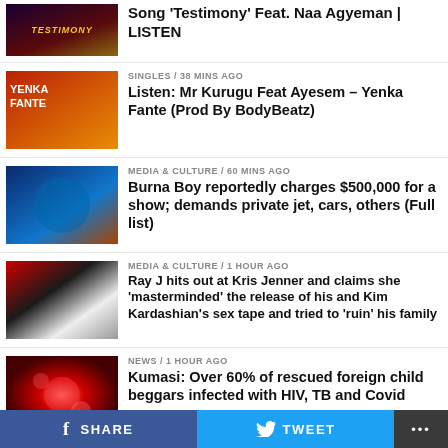[Figure (photo): Thumbnail image for Testimony song]
Song 'Testimony' Feat. Naa Agyeman | LISTEN
[Figure (photo): Thumbnail image for Yenka Fante single]
SINGLES / 38 mins ago
Listen: Mr Kurugu Feat Ayesem – Yenka Fante (Prod By BodyBeatz)
[Figure (photo): Thumbnail image for Burna Boy article]
MEDIA & CULTURE / 60 mins ago
Burna Boy reportedly charges $500,000 for a show; demands private jet, cars, others (Full list)
[Figure (photo): Thumbnail image for Ray J article]
MEDIA & CULTURE / 1 hour ago
Ray J hits out at Kris Jenner and claims she 'masterminded' the release of his and Kim Kardashian's sex tape and tried to 'ruin' his family
[Figure (photo): Thumbnail image for Kumasi news article]
NEWS / 1 hour ago
Kumasi: Over 60% of rescued foreign child beggars infected with HIV, TB and Covid
SHARE  TWEET  ...